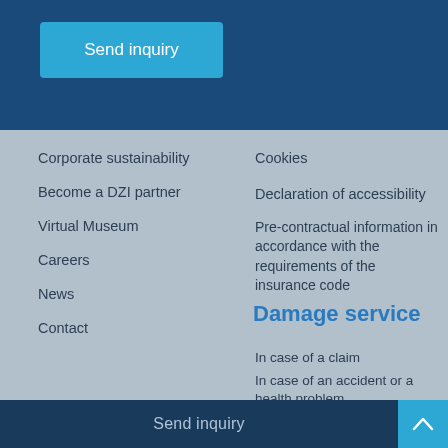Send inquiry
Corporate sustainability
Become a DZI partner
Virtual Museum
Careers
News
Contact
Cookies
Declaration of accessibility
Pre-contractual information in accordance with the requirements of the insurance code
Damage service
In case of a claim
In case of an accident or a health problem
[Figure (infographic): Four social media icons in circles: Facebook (blue), Instagram (dark/black), YouTube (red), LinkedIn (teal/blue)]
Send inquiry